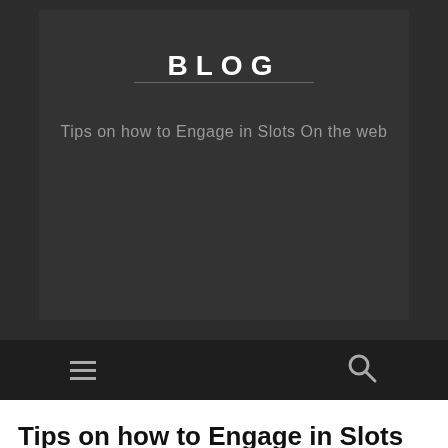BLOG
Tips on how to Engage in Slots On the web
Tips on how to Engage in Slots On the web